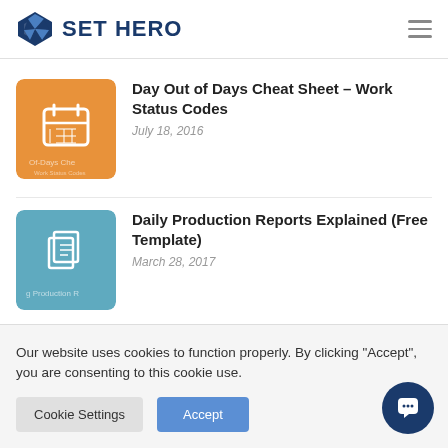SET HERO
Day Out of Days Cheat Sheet – Work Status Codes
July 18, 2016
Daily Production Reports Explained (Free Template)
March 28, 2017
Our website uses cookies to function properly. By clicking "Accept", you are consenting to this cookie use.